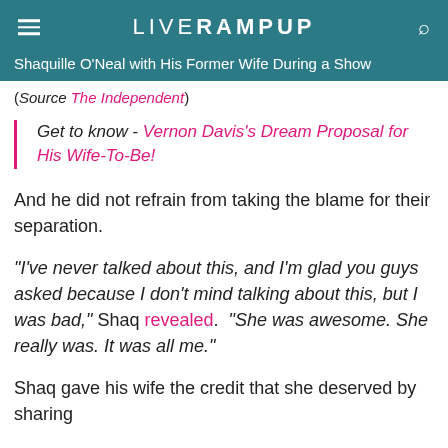LIVE RAMPUP
Shaquille O'Neal with His Former Wife During a Show
(Source The Independent)
Get to know - Vernon Davis's Dream Proposal for His Wife-To-Be!
And he did not refrain from taking the blame for their separation.
"I've never talked about this, and I'm glad you guys asked because I don't mind talking about this, but I was bad," Shaq revealed. "She was awesome. She really was. It was all me."
Shaq gave his wife the credit that she deserved by sharing